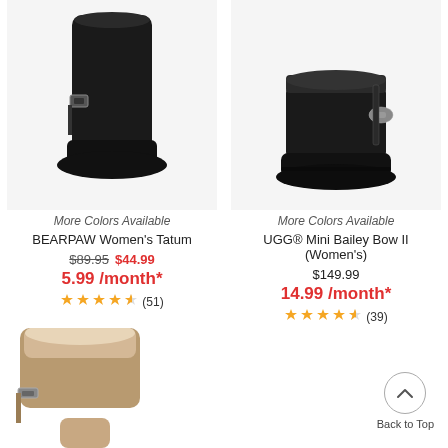[Figure (photo): Black BEARPAW Women's Tatum tall boot with buckle strap]
More Colors Available
BEARPAW Women's Tatum
$89.95 $44.99
5.99 /month*
[Figure (other): 4.5 star rating, (51) reviews]
[Figure (photo): Black UGG Mini Bailey Bow II women's boot]
More Colors Available
UGG® Mini Bailey Bow II (Women's)
$149.99
14.99 /month*
[Figure (other): 4.5 star rating, (39) reviews]
[Figure (photo): Tan/beige BEARPAW boot partially visible at bottom left]
Back to Top